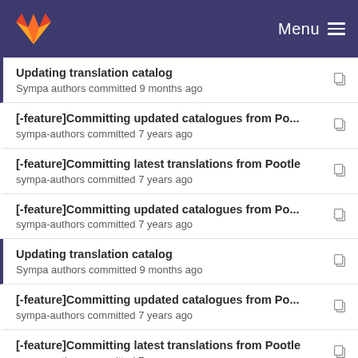Menu
Updating translation catalog
Sympa authors committed 9 months ago
[-feature]Committing updated catalogues from Po...
sympa-authors committed 7 years ago
[-feature]Committing latest translations from Pootle
sympa-authors committed 7 years ago
[-feature]Committing updated catalogues from Po...
sympa-authors committed 7 years ago
Updating translation catalog
Sympa authors committed 9 months ago
[-feature]Committing updated catalogues from Po...
sympa-authors committed 7 years ago
[-feature]Committing latest translations from Pootle
sympa-authors committed 7 years ago
[-feature]Committing updated catalogues from Po...
sympa-authors committed 7 years ago